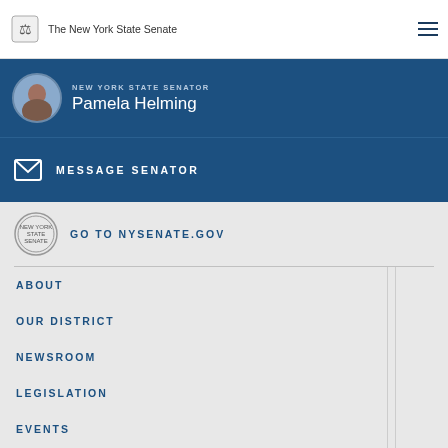The New York State Senate
NEW YORK STATE SENATOR Pamela Helming
MESSAGE SENATOR
GO TO NYSENATE.GOV
ABOUT
OUR DISTRICT
NEWSROOM
LEGISLATION
EVENTS
CONTACT